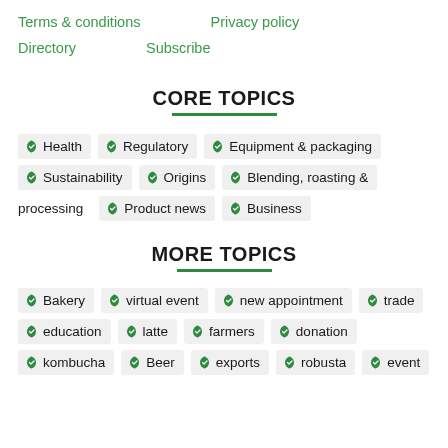Terms & conditions
Privacy policy
Directory
Subscribe
CORE TOPICS
Health
Regulatory
Equipment & packaging
Sustainability
Origins
Blending, roasting & processing
Product news
Business
MORE TOPICS
Bakery
virtual event
new appointment
trade
education
latte
farmers
donation
kombucha
Beer
exports
robusta
event